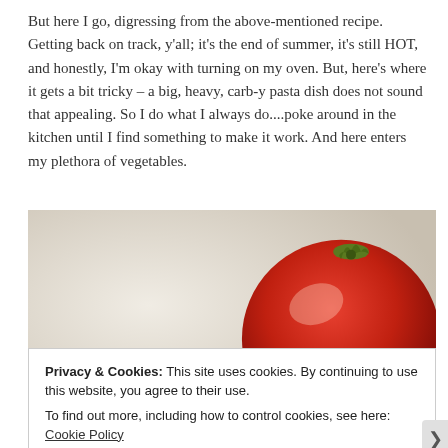But here I go, digressing from the above-mentioned recipe. Getting back on track, y'all; it's the end of summer, it's still HOT, and honestly, I'm okay with turning on my oven. But, here's where it gets a bit tricky – a big, heavy, carb-y pasta dish does not sound that appealing. So I do what I always do....poke around in the kitchen until I find something to make it work. And here enters my plethora of vegetables.
[Figure (photo): Close-up photo of red tomatoes on a light cream/beige surface, two tomatoes visible, one in upper right and one partially visible in lower center]
Privacy & Cookies: This site uses cookies. By continuing to use this website, you agree to their use.
To find out more, including how to control cookies, see here: Cookie Policy
Close and accept